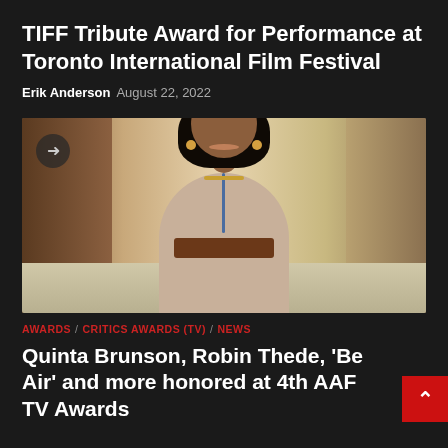TIFF Tribute Award for Performance at Toronto International Film Festival
Erik Anderson  August 22, 2022
[Figure (photo): Woman smiling in a school hallway, wearing a beige turtleneck with a lanyard/ID badge and brown belt, with blurred corridor background]
AWARDS / CRITICS AWARDS (TV) / NEWS
Quinta Brunson, Robin Thede, 'Be Air' and more honored at 4th AAF TV Awards